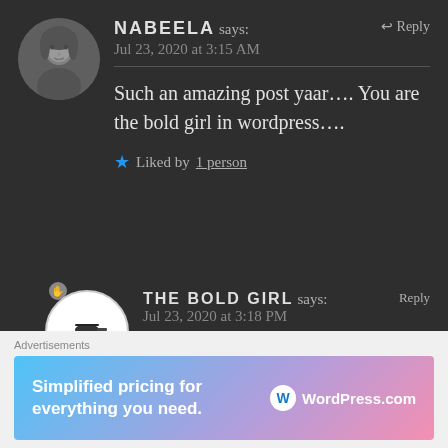[Figure (photo): Round avatar photo of a young woman (Nabeela), black and white]
NABEELA says:
Jul 23, 2020 at 3:15 AM
Reply
Such an amazing post yaar.... You are the bold girl in wordpress....
★ Liked by 1 person
[Figure (logo): The Bold Girl blog logo — circular white badge with helicopter icon and text 'The Bold Girl']
THE BOLD GIRL says: Reply
Jul 23, 2020 at 3:18 PM
😊😊❤️❤️
Advertisements
Simplified pricing for everything you need. WordPress.com